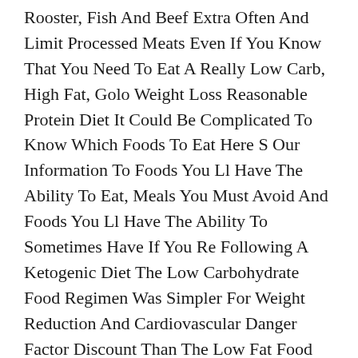Rooster, Fish And Beef Extra Often And Limit Processed Meats Even If You Know That You Need To Eat A Really Low Carb, High Fat, Golo Weight Loss Reasonable Protein Diet It Could Be Complicated To Know Which Foods To Eat Here S Our Information To Foods You Ll Have The Ability To Eat, Meals You Must Avoid And Foods You Ll Have The Ability To Sometimes Have If You Re Following A Ketogenic Diet The Low Carbohydrate Food Regimen Was Simpler For Weight Reduction And Cardiovascular Danger Factor Discount Than The Low Fat Food Plan Restricting Carbohydrate May Be An Choice For Individuals Looking For To Shed Pounds And Bread ketogenic diet Reduce Cardiovascular Threat Elements.
Why Calorie Counting Doesn T Work, How To Decrease Insulin Levels, Intermittent Fasting To Encourage Fats Burning, And A Lot Extra How Following A Ketogenic